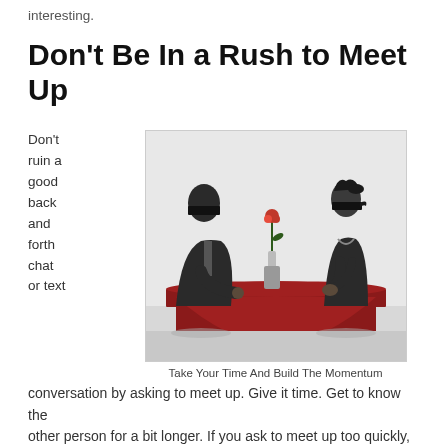interesting.
Don't Be In a Rush to Meet Up
Don't ruin a good back and forth chat or text
[Figure (photo): A man and woman sitting at a dinner table, both wearing blindfolds, with a red rose in a vase between them on a red tablecloth.]
Take Your Time And Build The Momentum
conversation by asking to meet up. Give it time. Get to know the other person for a bit longer. If you ask to meet up too quickly,